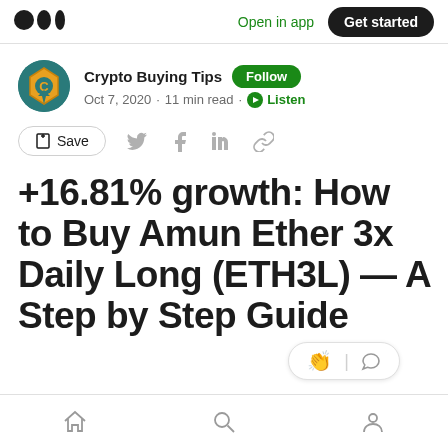Open in app · Get started
Crypto Buying Tips · Follow · Oct 7, 2020 · 11 min read · Listen
Save (share icons)
+16.81% growth: How to Buy Amun Ether 3x Daily Long (ETH3L) — A Step by Step Guide